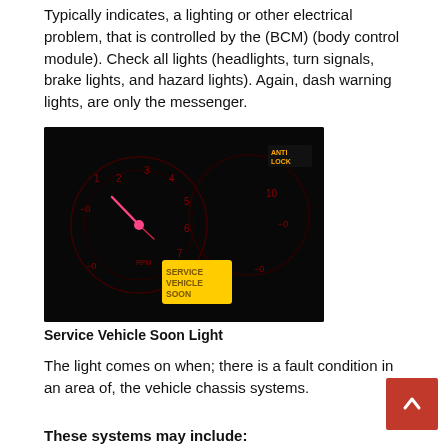Typically indicates, a lighting or other electrical problem, that is controlled by the (BCM) (body control module). Check all lights (headlights, turn signals, brake lights, and hazard lights). Again, dash warning lights, are only the messenger.
[Figure (photo): Dark dashboard photo showing a 'SERVICE VEHICLE SOON' warning light illuminated in yellow/amber on an instrument cluster display, with an 'ANTI LOCK' indicator also visible in orange at the top right.]
Service Vehicle Soon Light
The light comes on when; there is a fault condition in an area of, the vehicle chassis systems.
These systems may include: